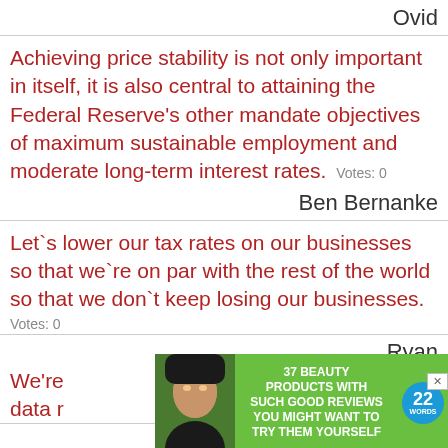Ovid
Achieving price stability is not only important in itself, it is also central to attaining the Federal Reserve's other mandate objectives of maximum sustainable employment and moderate long-term interest rates.   Votes: 0
Ben Bernanke
Let`s lower our tax rates on our businesses so that we`re on par with the rest of the world so that we don`t keep losing our businesses.
Votes: 0
Ryan
[Figure (infographic): Advertisement overlay with green background showing a woman with face mask, text '37 BEAUTY PRODUCTS WITH SUCH GOOD REVIEWS YOU MIGHT WANT TO TRY THEM YOURSELF' and a blue '22 WORDS' badge. Has a CLOSE button and X button.]
We're ... good data r... rates